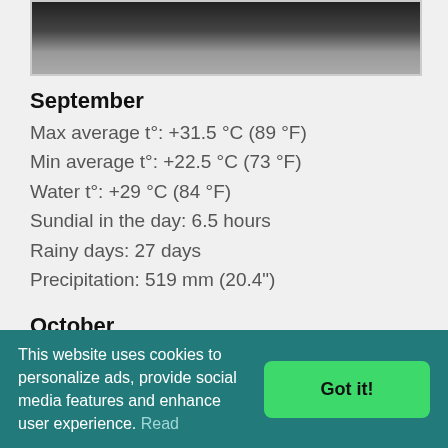[Figure (photo): Partial image of a panda bear, cropped at top of page]
September
Max average t°: +31.5 °C (89 °F)
Min average t°: +22.5 °C (73 °F)
Water t°: +29 °C (84 °F)
Sundial in the day: 6.5 hours
Rainy days: 27 days
Precipitation: 519 mm (20.4")
October
Max average t°: +31 °C (88 °F)
This website uses cookies to personalize ads, provide social media features and enhance user experience. Read